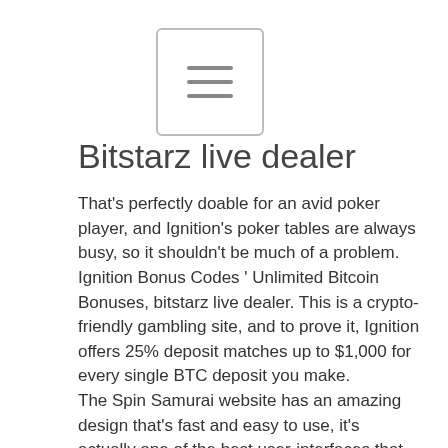[Figure (other): Hamburger menu button icon with three horizontal lines inside a rounded rectangle border]
Bitstarz live dealer
That's perfectly doable for an avid poker player, and Ignition's poker tables are always busy, so it shouldn't be much of a problem. Ignition Bonus Codes ' Unlimited Bitcoin Bonuses, bitstarz live dealer. This is a crypto-friendly gambling site, and to prove it, Ignition offers 25% deposit matches up to $1,000 for every single BTC deposit you make.
The Spin Samurai website has an amazing design that's fast and easy to use, it's actually one of the best user-interfaces that we've seen, bitstarz live dealer.
With the popularity surge of cryptocurrencies over the past years, the diversity of options at Bitcoin casinos is undeniable. Want to play live casino games using Bitcoin? Would